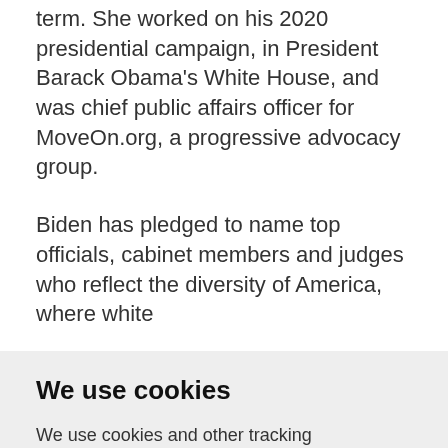term. She worked on his 2020 presidential campaign, in President Barack Obama's White House, and was chief public affairs officer for MoveOn.org, a progressive advocacy group.
Biden has pledged to name top officials, cabinet members and judges who reflect the diversity of America, where white
We use cookies
We use cookies and other tracking technologies to improve your browsing experience on our website, to show you personalized content and targeted ads, to analyze our website traffic, and to understand where our visitors are coming from.